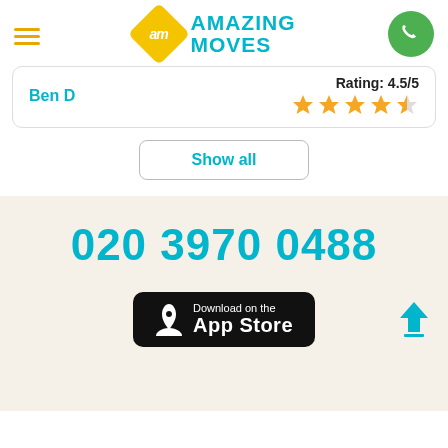[Figure (logo): Amazing Moves logo with diamond AM badge and teal AMAZING MOVES text]
[Figure (illustration): Green circle phone icon button]
Ben D
Rating: 4.5/5
[Figure (illustration): 4.5 out of 5 yellow stars rating]
Show all
020 3970 0488
[Figure (illustration): Download on the App Store button]
[Figure (illustration): Scroll to top arrow icon]